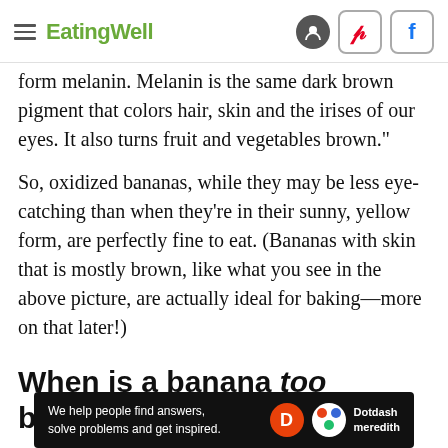EatingWell
form melanin. Melanin is the same dark brown pigment that colors hair, skin and the irises of our eyes. It also turns fruit and vegetables brown."
So, oxidized bananas, while they may be less eye-catching than when they're in their sunny, yellow form, are perfectly fine to eat. (Bananas with skin that is mostly brown, like what you see in the above picture, are actually ideal for baking—more on that later!)
When is a banana too brown?
[Figure (other): Dotdash Meredith advertisement bar: 'We help people find answers, solve problems and get inspired.' with Dotdash Meredith logos.]